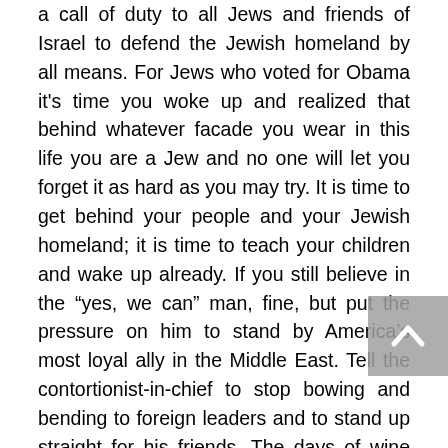a call of duty to all Jews and friends of Israel to defend the Jewish homeland by all means. For Jews who voted for Obama it's time you woke up and realized that behind whatever facade you wear in this life you are a Jew and no one will let you forget it as hard as you may try. It is time to get behind your people and your Jewish homeland; it is time to teach your children and wake up already. If you still believe in the "yes, we can" man, fine, but put the pressure on him to stand by America's most loyal ally in the Middle East. Tell the contortionist-in-chief to stop bowing and bending to foreign leaders and to stand up straight for his friends. The days of wine and roses are over. There is a jihad against our people and the clock is